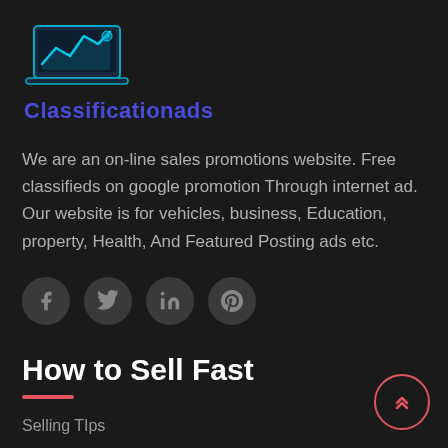[Figure (logo): Classificationads logo: laptop with chart icon in cyan/blue on dark background]
Classificationads
We are an on-line sales promotions website. Free classifieds on google promotion Through internet ad. Our website is for vehicles, business, Education, property, Health, And Featured Posting ads etc.
[Figure (other): Social media icons: Facebook, Twitter, LinkedIn, Pinterest — dark circular buttons]
How to Sell Fast
Selling TIps
Buy and Sell Quickly